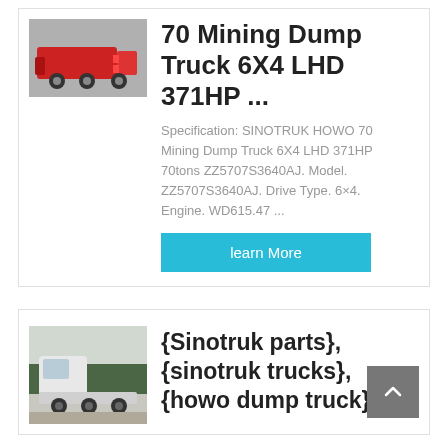[Figure (photo): Rear view of a SINOTRUK HOWO mining dump truck, red brake lights visible]
70 Mining Dump Truck 6X4 LHD 371HP ...
Specification: SINOTRUK HOWO 70 Mining Dump Truck 6X4 LHD 371HP 70tons ZZ5707S3640AJ. Model. ZZ5707S3640AJ. Drive Type. 6×4. Engine. WD615.47 ...
learn More
[Figure (photo): White SINOTRUK HOWO tractor truck parked outdoors with trees in background]
{Sinotruk parts}, {sinotruk trucks}, {howo dump truck}